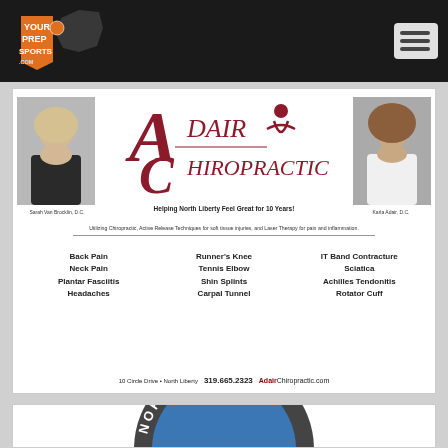[Figure (logo): YourPrepSports.com logo on dark background navigation bar with menu icon]
[Figure (infographic): Adair Chiropractic advertisement. Features photos of Sarah Van Brocklin D.C. and Karla Adair D.C., the Adair Chiropractic logo, tagline 'Helping North Liberty Feel Great for 10 Years!', services listed: Back Pain, Neck Pain, Plantar Fasciitis, Headaches, Runner's Knee, Tennis Elbow, Shin Splints, Carpal Tunnel, IT Band Contracture, Sciatica, Achilles Tendonitis, Rotator Cuff. Address: 10 Circle Drive, North Liberty. Phone: 319.665.2323. Website: AdairChiropractic.com]
[Figure (logo): North Dodge circular logo, partially visible at bottom of page, blue and grey circular badge with ND initials]